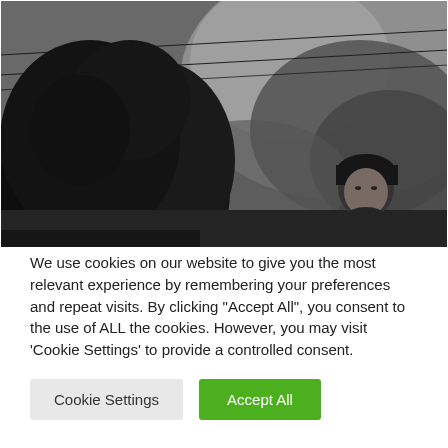[Figure (photo): Black and white photograph showing a dramatic cloudy sky, a large dark tree on the left side, power lines visible in the upper portion, and a young person (appearing to be Asian) visible on the right side of the frame wearing dark clothing.]
We use cookies on our website to give you the most relevant experience by remembering your preferences and repeat visits. By clicking "Accept All", you consent to the use of ALL the cookies. However, you may visit 'Cookie Settings' to provide a controlled consent.